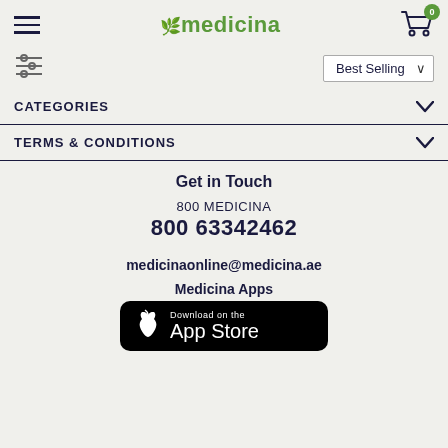medicina — Best Selling (cart: 0)
CATEGORIES
TERMS & CONDITIONS
Get in Touch
800 MEDICINA
800 63342462
medicinaonline@medicina.ae
Medicina Apps
[Figure (screenshot): Download on the App Store button (black rounded rectangle with Apple logo)]